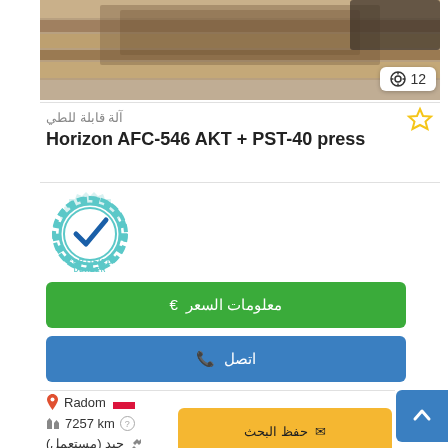[Figure (photo): Photo of a Horizon AFC-546 AKT + PST-40 press machine on wooden pallets, viewed from above]
🔍 12
آلة قابلة للطي
Horizon  AFC-546 AKT + PST-40 press
[Figure (logo): Certified Dealer badge — teal gear with checkmark and text CERTIFIED DEALER]
معلومات السعر €
اتصل ☎
Radom 🇵🇱
7257 km ❓
جيد (مستعمل) 🔧
📤 حفظ البحث